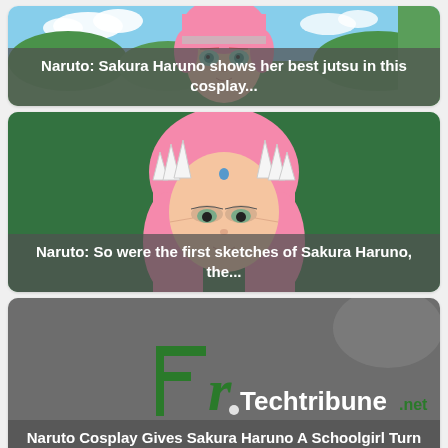[Figure (illustration): Anime-style pink-haired girl with green eyes against blue sky and green background, Naruto character Sakura Haruno]
Naruto: Sakura Haruno shows her best jutsu in this cosplay...
[Figure (illustration): Anime-style pink-haired girl with dark eyes against dark green background, early sketch style of Sakura Haruno]
Naruto: So were the first sketches of Sakura Haruno, the...
[Figure (screenshot): Dark background with Fr.Techtribune.net logo in green and white]
Naruto Cosplay Gives Sakura Haruno A Schoolgirl Turn
[Figure (illustration): Partial view of anime character with pink hair on teal background]